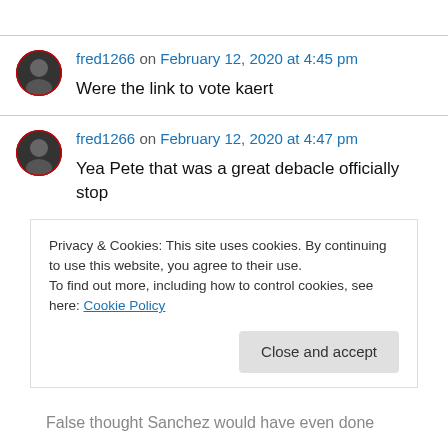fred1266 on February 12, 2020 at 4:45 pm
Were the link to vote kaert
fred1266 on February 12, 2020 at 4:47 pm
Yea Pete that was a great debacle officially stop
Privacy & Cookies: This site uses cookies. By continuing to use this website, you agree to their use.
To find out more, including how to control cookies, see here: Cookie Policy
Close and accept
False thought Sanchez would have even done